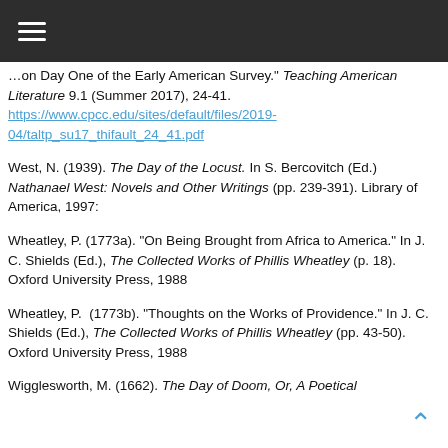Navigation bar
...on Day One of the Early American Survey." Teaching American Literature 9.1 (Summer 2017), 24-41. https://www.cpcc.edu/sites/default/files/2019-04/taltp_su17_thifault_24_41.pdf
West, N. (1939). The Day of the Locust. In S. Bercovitch (Ed.) Nathanael West: Novels and Other Writings (pp. 239-391). Library of America, 1997:
Wheatley, P. (1773a). "On Being Brought from Africa to America." In J. C. Shields (Ed.), The Collected Works of Phillis Wheatley (p. 18). Oxford University Press, 1988
Wheatley, P. (1773b). "Thoughts on the Works of Providence." In J. C. Shields (Ed.), The Collected Works of Phillis Wheatley (pp. 43-50). Oxford University Press, 1988
Wigglesworth, M. (1662). The Day of Doom, Or, A Poetical